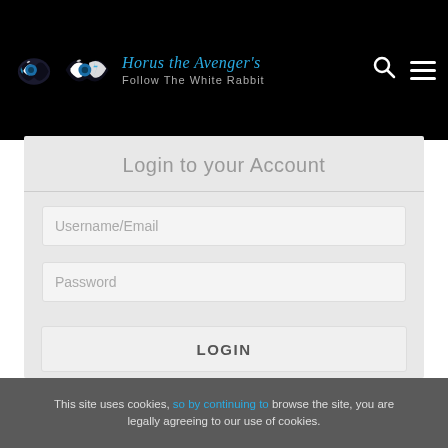[Figure (logo): Horus the Avenger logo with two glowing eyes (blue lightning bolt right eye, left eye with blue curl) and stylized italic text 'Horus the Avenger's Follow The White Rabbit' on black background]
Login to your Account
Username/Email
Password
LOGIN
This site uses cookies, so by continuing to browse the site, you are legally agreeing to our use of cookies.